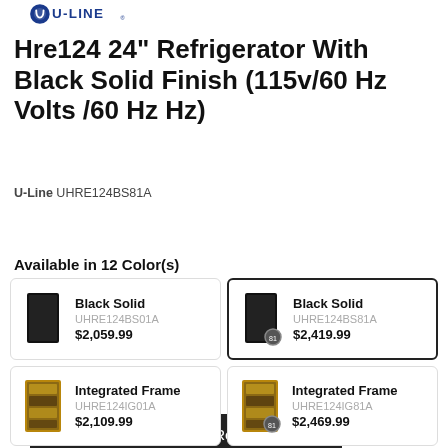[Figure (logo): U-Line brand logo with blue circle icon and U-Line text]
Hre124 24" Refrigerator With Black Solid Finish (115v/60 Hz Volts /60 Hz Hz)
U-Line UHRE124BS81A
How To Measure For Refrigerators
Available in 12 Color(s)
| Image | Name | SKU | Price |
| --- | --- | --- | --- |
| [black solid image] | Black Solid | UHRE124BS01A | $2,059.99 |
| [black solid image] | Black Solid | UHRE124BS81A | $2,419.99 |
| [integrated frame image] | Integrated Frame | UHRE124IG01A | $2,109.99 |
| [integrated frame image] | Integrated Frame | UHRE124IG81A | $2,469.99 |
| [integrated solid image] | Integrated Solid | UHRE124IS01A |  |
| [integrated solid image] | Integrated Solid | UHRE124IS81A |  |